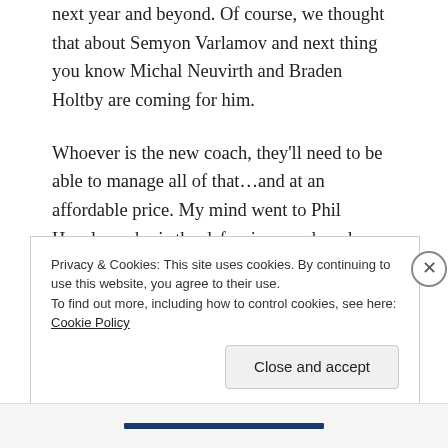next year and beyond. Of course, we thought that about Semyon Varlamov and next thing you know Michal Neuvirth and Braden Holtby are coming for him.
Whoever is the new coach, they'll need to be able to manage all of that…and at an affordable price. My mind went to Phil Housley, who is the defensive coach and power play coordinator in Arizona. People don't like him because his wife could be a problem to fans due to her political leanings and fans may also hate his tenure in Buffalo enough to not want him…but he could be a good
Privacy & Cookies: This site uses cookies. By continuing to use this website, you agree to their use.
To find out more, including how to control cookies, see here: Cookie Policy
Close and accept